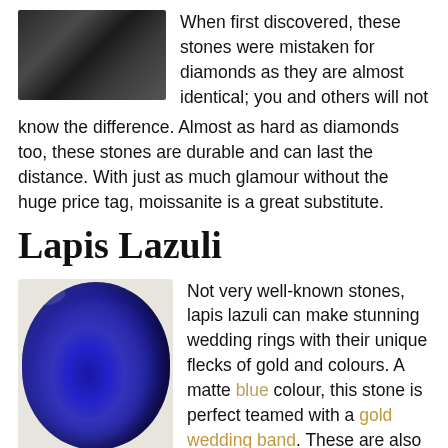[Figure (photo): Close-up photo of a dark greenish-black gemstone (moissanite)]
When first discovered, these stones were mistaken for diamonds as they are almost identical; you and others will not know the difference. Almost as hard as diamonds too, these stones are durable and can last the distance. With just as much glamour without the huge price tag, moissanite is a great substitute.
Lapis Lazuli
[Figure (photo): Photo of a smooth, oval-shaped lapis lazuli gemstone with deep blue color and gold flecks]
Not very well-known stones, lapis lazuli can make stunning wedding rings with their unique flecks of gold and colours. A matte blue colour, this stone is perfect teamed with a gold wedding band. These are also extremely inexpensive but they are softer